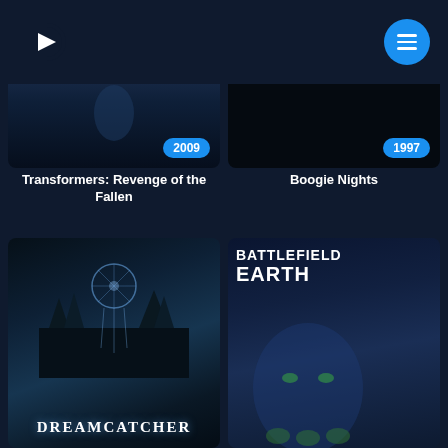Criticker app header with logo and menu button
[Figure (screenshot): Transformers: Revenge of the Fallen movie poster card with year badge 2009]
Transformers: Revenge of the Fallen
[Figure (screenshot): Boogie Nights movie poster card with year badge 1997]
Boogie Nights
[Figure (screenshot): Dreamcatcher movie poster card showing blue fantasy forest scene with dreamcatcher design]
[Figure (screenshot): Battlefield Earth movie poster card showing blue-tinted alien figure with Battlefield Earth title text]